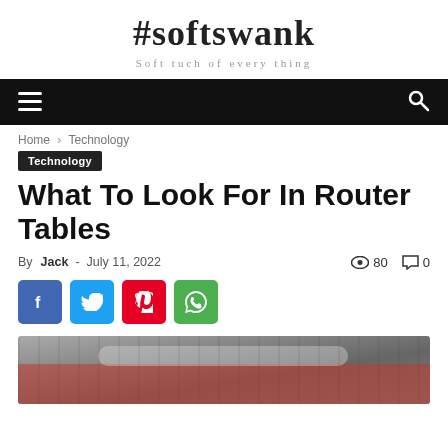#softswank
Soft tuch of every thing
Home › Technology
Technology
What To Look For In Router Tables
By Jack - July 11, 2022   👁 80   💬 0
[Figure (other): Social share buttons: Facebook, Twitter, Pinterest, WhatsApp]
[Figure (photo): Person's hands on a router table, red woodworking equipment visible]